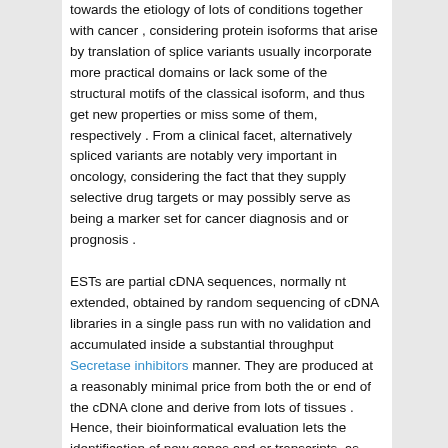towards the etiology of lots of conditions together with cancer , considering protein isoforms that arise by translation of splice variants usually incorporate more practical domains or lack some of the structural motifs of the classical isoform, and thus get new properties or miss some of them, respectively . From a clinical facet, alternatively spliced variants are notably very important in oncology, considering the fact that they supply selective drug targets or may possibly serve as being a marker set for cancer diagnosis and or prognosis . ESTs are partial cDNA sequences, normally nt extended, obtained by random sequencing of cDNA libraries in a single pass run with no validation and accumulated inside a substantial throughput Secretase inhibitors manner. They are produced at a reasonably minimal price from both the or end of the cDNA clone and derive from lots of tissues . Hence, their bioinformatical evaluation lets the identification of new genes and or transcripts, as well as the generation of tissue distinct or ailment exact mRNA expression patterns . Alignment of EST clones with genomic sequences or recognized mRNAs can result in the identification of novel splice variants derived from